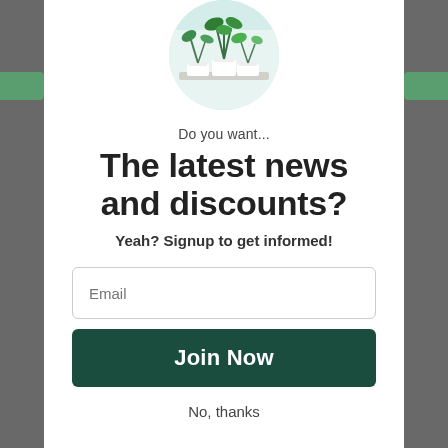[Figure (photo): Circular photo of green indoor plants in white pots on a table]
Do you want...
The latest news and discounts?
Yeah? Signup to get informed!
Email
Join Now
No, thanks